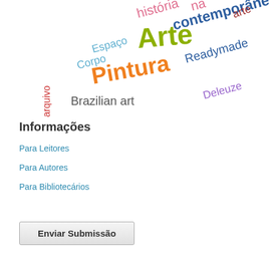[Figure (infographic): Word cloud with art-related terms in Portuguese and English, including Arte, Pintura, Readymade, Deleuze, Brazilian art, Espaço, Corpo, arquivo, história, contemporânea, arte rendered in various colors, sizes, and angles.]
Informações
Para Leitores
Para Autores
Para Bibliotecários
Enviar Submissão